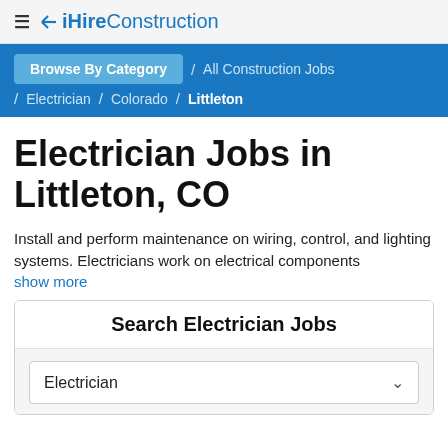≡ iHireConstruction
Browse By Category / All Construction Jobs / Electrician / Colorado / Littleton
Electrician Jobs in Littleton, CO
Install and perform maintenance on wiring, control, and lighting systems. Electricians work on electrical components show more
Search Electrician Jobs
Electrician